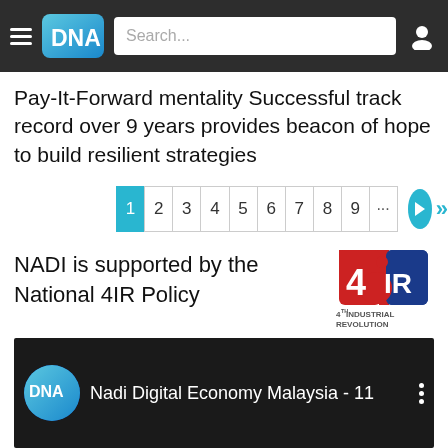DNA — Navigation bar with hamburger menu, DNA logo, search box, and user icon
Pay-It-Forward mentality Successful track record over 9 years provides beacon of hope to build resilient strategies
Pagination: 1 (active) 2 3 4 5 6 7 8 9 ... → >>
NADI is supported by the National 4IR Policy
[Figure (logo): 4th Industrial Revolution logo — red and blue stylized '4IR' mark with text '4th INDUSTRIAL REVOLUTION']
[Figure (screenshot): YouTube embed showing 'Nadi Digital Economy Malaysia - 11' with DNA circular logo and three-dot menu]